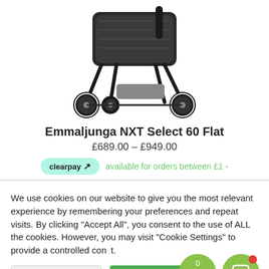[Figure (photo): Baby stroller (pram) - Emmaljunga NXT Select 60 Flat, showing the lower half of the stroller with black wheels and frame on white background]
Emmaljunga NXT Select 60 Flat
£689.00 – £949.00
clearpay available for orders between £1 -
We use cookies on our website to give you the most relevant experience by remembering your preferences and repeat visits. By clicking "Accept All", you consent to the use of ALL the cookies. However, you may visit "Cookie Settings" to provide a controlled consent.
Cookie Settings | Accept All